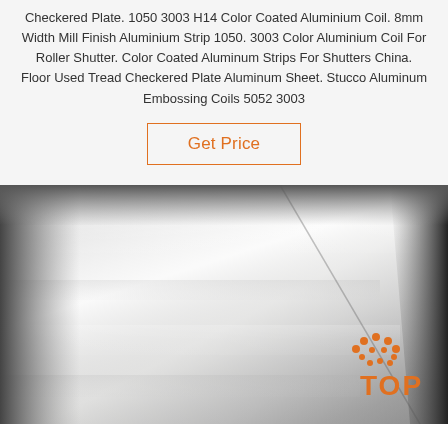Checkered Plate. 1050 3003 H14 Color Coated Aluminium Coil. 8mm Width Mill Finish Aluminium Strip 1050. 3003 Color Aluminium Coil For Roller Shutter. Color Coated Aluminum Strips For Shutters China. Floor Used Tread Checkered Plate Aluminum Sheet. Stucco Aluminum Embossing Coils 5052 3003
Get Price
[Figure (photo): Close-up photo of a brushed/polished aluminium sheet surface showing metallic sheen with light reflections. A watermark logo with dots above and 'TOP' text in orange appears in the bottom-right corner.]